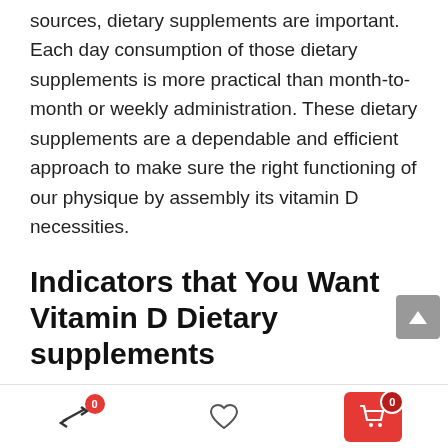sources, dietary supplements are important. Each day consumption of those dietary supplements is more practical than month-to-month or weekly administration. These dietary supplements are a dependable and efficient approach to make sure the right functioning of our physique by assembly its vitamin D necessities.
Indicators that You Want Vitamin D Dietary supplements
You would possibly want vitamin D dietary supplements when identified with vitamin D deficiency. Nonetheless, it's higher to seek the advice